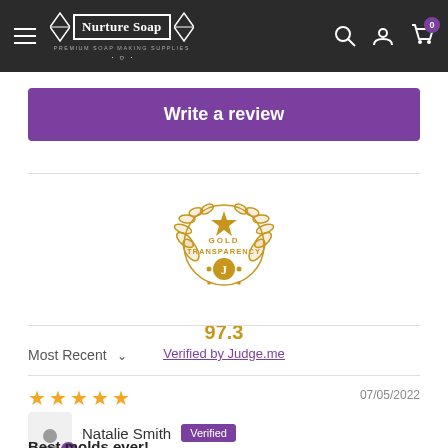Nurture Soap — Premium Soap Making Supplies
Write a review
[Figure (logo): Gold Transparency badge with laurel wreath, star, and J letter. Score: 97.3. Verified by Judge.me]
97.3
Verified by Judge.me
Most Recent
07/05/2022
Natalie Smith  Verified
Best molds ever!